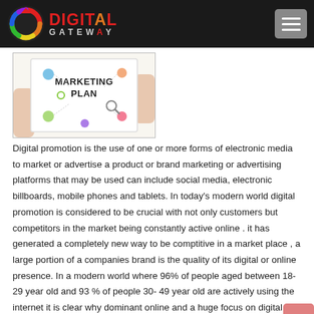DIGITAL GATEWAY
[Figure (photo): Hands holding a paper with a marketing plan diagram and icons for digital marketing channels, labeled 'MARKETING PLAN']
Digital promotion is the use of one or more forms of electronic media to market or advertise a product or brand marketing or advertising platforms that may be used can include social media, electronic billboards, mobile phones and tablets. In today's modern world digital promotion is considered to be crucial with not only customers but competitors in the market being constantly active online . it has generated a completely new way to be comptitive in a market place , a large portion of a companies brand is the quality of its digital or online presence. In a modern world where 96% of people aged between 18-29 year old and 93 % of people 30- 49 year old are actively using the internet it is clear why dominant online and a huge focus on digital promotion with brands is at the top